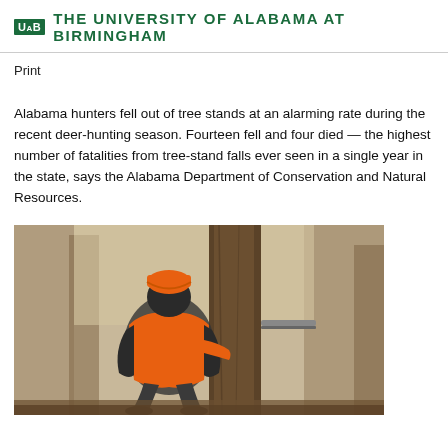UAB THE UNIVERSITY OF ALABAMA AT BIRMINGHAM
Print
Alabama hunters fell out of tree stands at an alarming rate during the recent deer-hunting season. Fourteen fell and four died — the highest number of fatalities from tree-stand falls ever seen in a single year in the state, says the Alabama Department of Conservation and Natural Resources.
[Figure (photo): A hunter wearing an orange safety vest and orange cap is crouched on a tree stand attached to a large tree trunk in a winter forest setting.]